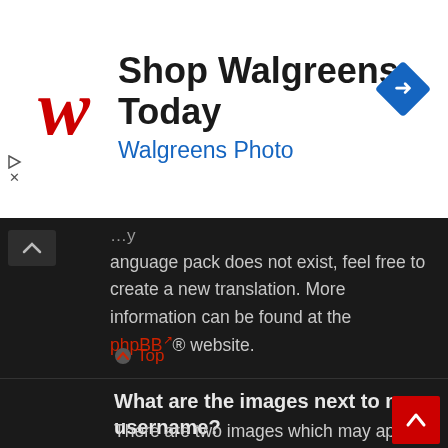[Figure (infographic): Walgreens advertisement banner with red cursive W logo, text 'Shop Walgreens Today' and 'Walgreens Photo' in blue, and a blue navigation arrow diamond icon on the right]
language pack does not exist, feel free to create a new translation. More information can be found at the phpBB® website.
▲ Top
What are the images next to my username?
There are two images which may appear along with a username when viewing posts. One of them may be an image associated with your rank, generally in the form of stars, blocks or dots, indicating how many posts you have made or your status on the board. Another, usually larger, image is known as an avatar and is generally unique or personal to each user.
▲ Top